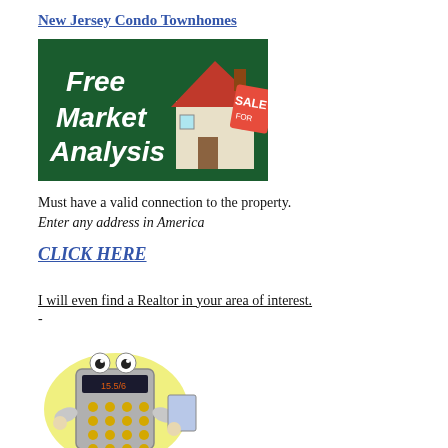New Jersey Condo Townhomes
[Figure (illustration): Banner image with dark green background showing a cartoon house with a red 'SALE' tag, and white bold text reading 'Free Market Analysis']
Must have a valid connection to the property.
Enter any address in America
CLICK HERE
I will even find a Realtor in your area of interest.
-
[Figure (illustration): Cartoon calculator character with googly eyes, holding a notepad, on a yellow circular background]
Real Estate Mortgage Calculator
[Figure (other): Two rectangular input boxes at the bottom of the page]